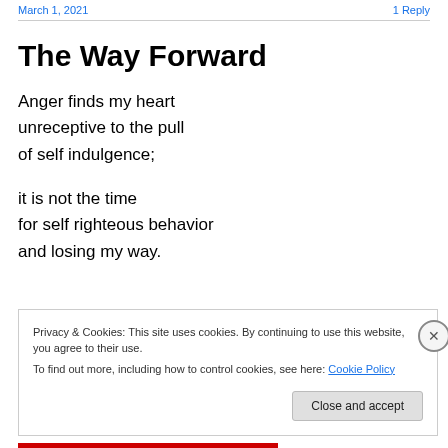March 1, 2021    1 Reply
The Way Forward
Anger finds my heart
unreceptive to the pull
of self indulgence;

it is not the time
for self righteous behavior
and losing my way.
Privacy & Cookies: This site uses cookies. By continuing to use this website, you agree to their use.
To find out more, including how to control cookies, see here: Cookie Policy
Close and accept